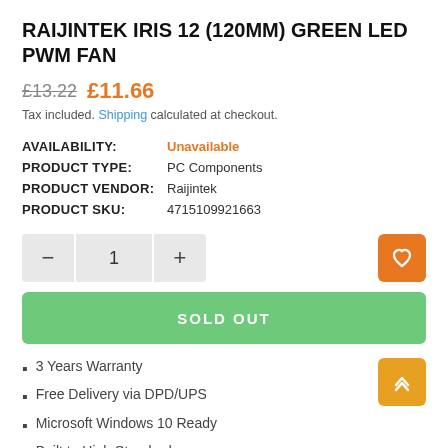RAIJINTEK IRIS 12 (120MM) GREEN LED PWM FAN
£13.22  £11.66
Tax included. Shipping calculated at checkout.
| AVAILABILITY: | Unavailable |
| PRODUCT TYPE: | PC Components |
| PRODUCT VENDOR: | Raijintek |
| PRODUCT SKU: | 4715109921663 |
1 (quantity selector)
SOLD OUT
3 Years Warranty
Free Delivery via DPD/UPS
Microsoft Windows 10 Ready
Built to High Standards